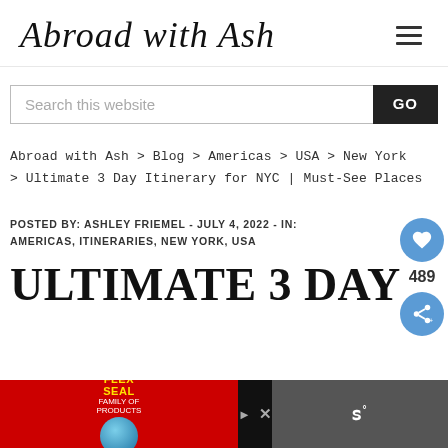Abroad with Ash
Search this website
GO
Abroad with Ash > Blog > Americas > USA > New York > Ultimate 3 Day Itinerary for NYC | Must-See Places
POSTED BY: ASHLEY FRIEMEL - JULY 4, 2022 - IN: AMERICAS, ITINERARIES, NEW YORK, USA
ULTIMATE 3 DAY
[Figure (screenshot): Advertisement banner at bottom: Flex Seal Family of Products on red background on the left, play/close controls in the middle, and a dark section on the right with white text.]